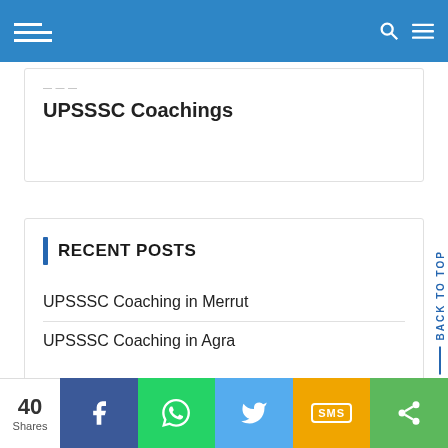Navigation bar with hamburger menu, search and menu icons
UPSSSC Coachings
RECENT POSTS
UPSSSC Coaching in Merrut
UPSSSC Coaching in Agra
40 Shares — Facebook, WhatsApp, Twitter, SMS, Share